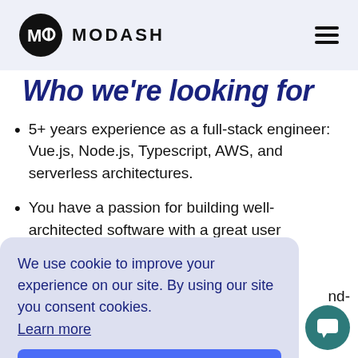MODASH
Who we're looking for
5+ years experience as a full-stack engineer: Vue.js, Node.js, Typescript, AWS, and serverless architectures.
You have a passion for building well-architected software with a great user
We use cookie to improve your experience on our site. By using our site you consent cookies. Learn more
Got it!
Come implement your knowledge to help